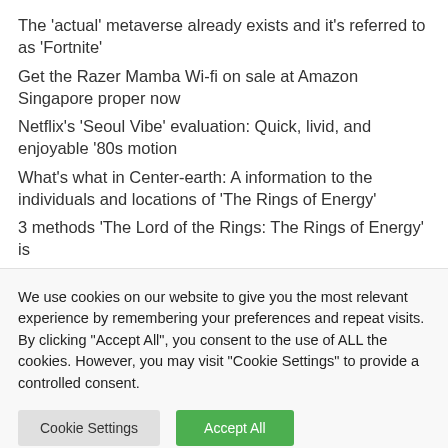The 'actual' metaverse already exists and it's referred to as 'Fortnite'
Get the Razer Mamba Wi-fi on sale at Amazon Singapore proper now
Netflix's 'Seoul Vibe' evaluation: Quick, livid, and enjoyable '80s motion
What's what in Center-earth: A information to the individuals and locations of 'The Rings of Energy'
3 methods 'The Lord of the Rings: The Rings of Energy' is totally different from J.R.R. Tolkien's books
We use cookies on our website to give you the most relevant experience by remembering your preferences and repeat visits. By clicking "Accept All", you consent to the use of ALL the cookies. However, you may visit "Cookie Settings" to provide a controlled consent.